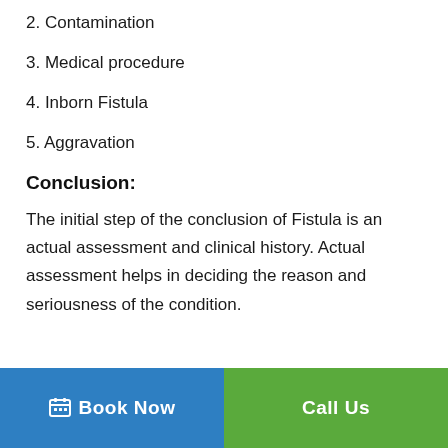2. Contamination
3. Medical procedure
4. Inborn Fistula
5. Aggravation
Conclusion:
The initial step of the conclusion of Fistula is an actual assessment and clinical history. Actual assessment helps in deciding the reason and seriousness of the condition.
Book Now   Call Us